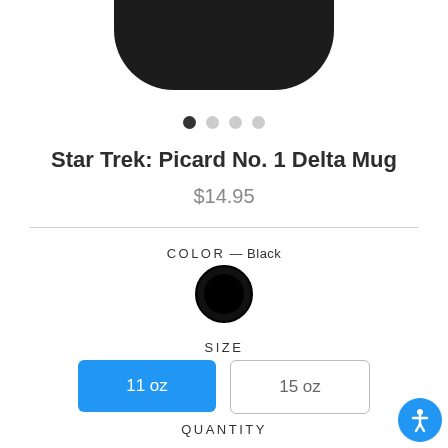[Figure (photo): Top portion of a black ceramic mug shown from above against a white background]
Star Trek: Picard No. 1 Delta Mug
$14.95
COLOR — Black
SIZE
11 oz
15 oz
QUANTITY